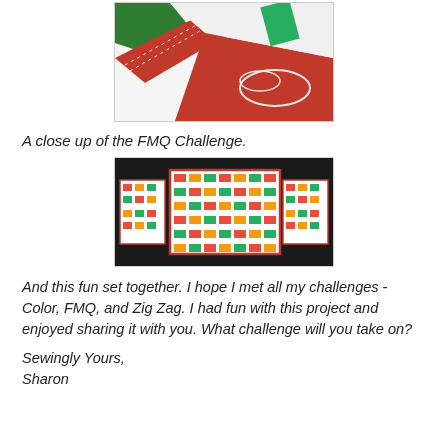[Figure (photo): Close-up of a quilt showing red, green and white fabric pieces with free motion quilting stitching visible on the red fabric.]
A close up of the FMQ Challenge.
[Figure (photo): Three zig-zag patterned quilts arranged on a dark surface. The center quilt is large showing interlocking zig-zag shapes in red, orange, yellow, and green on white background with red border. Two smaller matching quilts flank it on left and right.]
And this fun set together. I hope I met all my challenges - Color, FMQ, and Zig Zag. I had fun with this project and enjoyed sharing it with you. What challenge will you take on?
Sewingly Yours,
Sharon